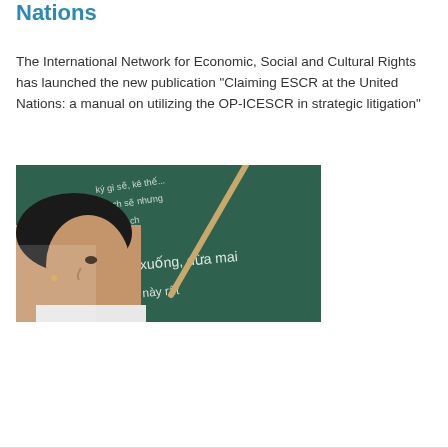Nations
The International Network for Economic, Social and Cultural Rights has launched the new publication "Claiming ESCR at the United Nations: a manual on utilizing the OP-ICESCR in strategic litigation"
Read more
[Figure (photo): A young girl in profile view pointing at a green chalkboard with Vietnamese text written on it, including the words 'xuống, đừa mai' and 'rất'. She holds a wooden pointer stick.]
1  2  next ›  last »